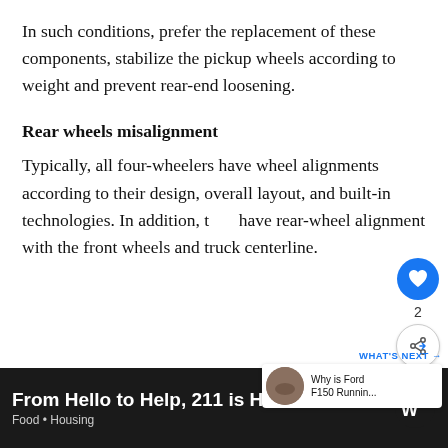In such conditions, prefer the replacement of these components, stabilize the pickup wheels according to weight and prevent rear-end loosening.
Rear wheels misalignment
Typically, all four-wheelers have wheel alignments according to their design, overall layout, and built-in technologies. In addition, they have rear-wheel alignment with the front wheels and truck centerline.
[Figure (infographic): Social interaction sidebar with heart/like button (blue circle), count of 2, and share button]
[Figure (infographic): What's Next panel showing thumbnail and text 'Why is Ford F150 Runnin...']
From Hello to Help, 211 is Here
Food • Housing